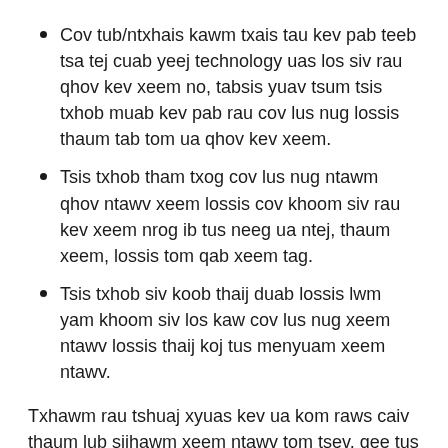Cov tub/ntxhais kawm txais tau kev pab teeb tsa tej cuab yeej technology uas los siv rau qhov kev xeem no, tabsis yuav tsum tsis txhob muab kev pab rau cov lus nug lossis thaum tab tom ua qhov kev xeem.
Tsis txhob tham txog cov lus nug ntawm qhov ntawv xeem lossis cov khoom siv rau kev xeem nrog ib tus neeg ua ntej, thaum xeem, lossis tom qab xeem tag.
Tsis txhob siv koob thaij duab lossis lwm yam khoom siv los kaw cov lus nug xeem ntawv lossis thaij koj tus menyuam xeem ntawv.
Txhawm rau tshuaj xyuas kev ua kom raws caiv thaum lub sijhawm xeem ntawv tom tsev, qee tus xibfwb qhia yuav xaiv los siv qhov Go Guardian, ib